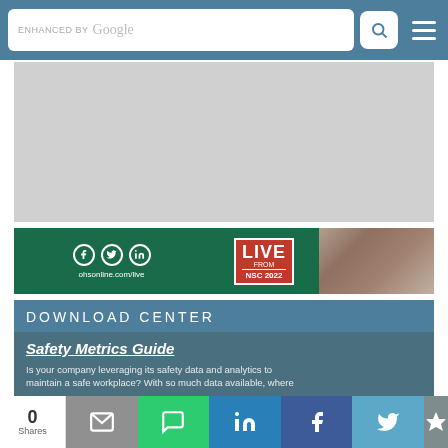enhanced by Google [search bar with search icon and menu]
[Figure (other): Gray advertisement placeholder rectangle]
[Figure (other): Banner: social media icons (Facebook, Twitter, LinkedIn), ohsonline.com/live, LIVE FROM NSC 2022 logo with crowd photo]
DOWNLOAD CENTER
Safety Metrics Guide
Is your company leveraging its safety data and analytics to maintain a safe workplace? With so much data available, where
0 Shares | email | SMS | LinkedIn | Facebook | Twitter | more